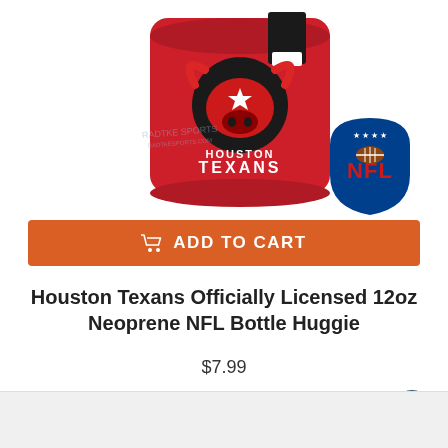[Figure (photo): Houston Texans red neoprene bottle huggie (koozie) with the Texans bull logo and 'HOUSTON TEXANS' text, alongside an NFL shield logo. Radtke Sports watermark visible.]
ADD TO CART
Houston Texans Officially Licensed 12oz Neoprene NFL Bottle Huggie
$7.99
3 left in stock